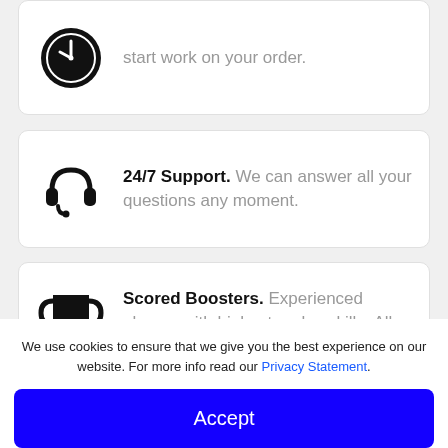[Figure (illustration): Clock icon (partial, top of page)]
start work on your order.
[Figure (illustration): Headset/support icon]
24/7 Support. We can answer all your questions any moment.
[Figure (illustration): Trophy/cup icon]
Scored Boosters. Experienced players with highest ranks, skills. All boosters are verified.
We use cookies to ensure that we give you the best experience on our website. For more info read our Privacy Statement.
Accept